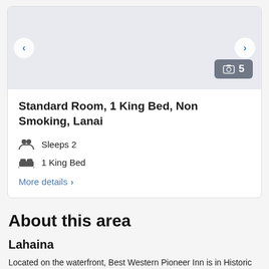[Figure (screenshot): Hotel room image carousel with navigation arrows and photo count badge showing 5 photos]
Standard Room, 1 King Bed, Non Smoking, Lanai
Sleeps 2
1 King Bed
More details >
About this area
Lahaina
Located on the waterfront, Best Western Pioneer Inn is in Historic Lahaina Front Street neighborhood and is connected to a shopping center. While the natural beauty of Kaanapali Beach and Napili Bay